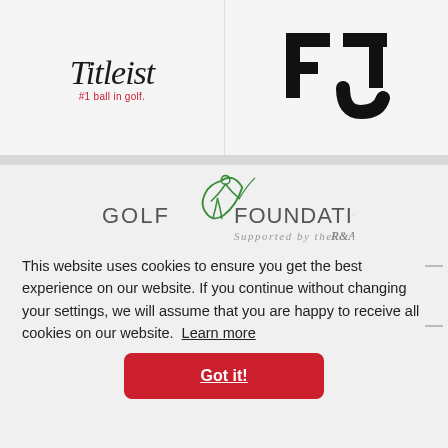[Figure (logo): Titleist logo with script text and tagline '#1 ball in golf.']
[Figure (logo): FootJoy logo — bold geometric FJ monogram in black]
[Figure (logo): Golf Foundation logo — golfer figure in green with text 'GOLF FOUNDATION Supported by the R&A']
This website uses cookies to ensure you get the best experience on our website. If you continue without changing your settings, we will assume that you are happy to receive all cookies on our website. Learn more
Got it!